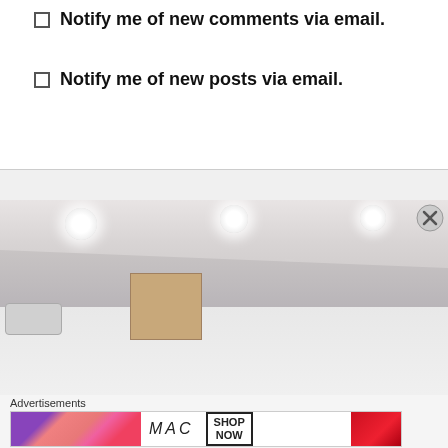Notify me of new comments via email.
Notify me of new posts via email.
[Figure (photo): Interior photo of a room with recessed ceiling lights, a dropped ceiling section, an air conditioning unit on the left wall, a cardboard box in the foreground, and white cabinetry visible in the background.]
Advertisements
[Figure (other): MAC Cosmetics advertisement banner showing lipsticks in purple, pink, and red colors with MAC logo and SHOP NOW button.]